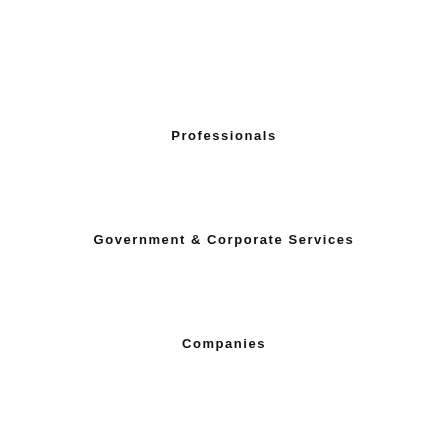Professionals
Government & Corporate Services
Companies